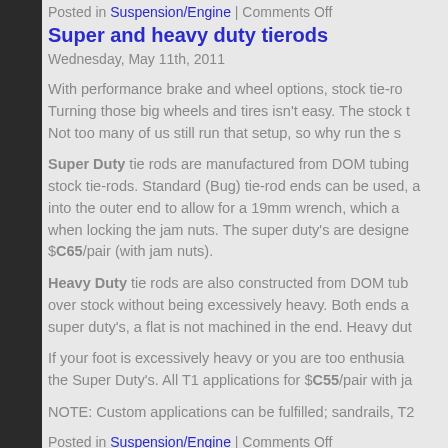Posted in Suspension/Engine | Comments Off
Super and heavy duty tierods
Wednesday, May 11th, 2011
With performance brake and wheel options, stock tie-ro... Turning those big wheels and tires isn't easy. The stock t... Not too many of us still run that setup, so why run the s...
Super Duty tie rods are manufactured from DOM tubing stock tie-rods. Standard (Bug) tie-rod ends can be used, a into the outer end to allow for a 19mm wrench, which a when locking the jam nuts. The super duty's are designe $C65/pair (with jam nuts).
Heavy Duty tie rods are also constructed from DOM tubi over stock without being excessively heavy. Both ends a super duty's, a flat is not machined in the end. Heavy dut
If your foot is excessively heavy or you are too enthusia the Super Duty's. All T1 applications for $C55/pair with ja
NOTE: Custom applications can be fulfilled; sandrails, T2
Posted in Suspension/Engine | Comments Off